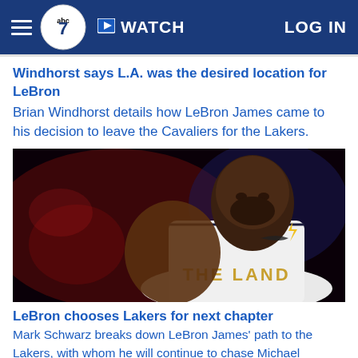ABC7 | WATCH | LOG IN
Windhorst says L.A. was the desired location for LeBron
Brian Windhorst details how LeBron James came to his decision to leave the Cavaliers for the Lakers.
[Figure (photo): LeBron James in Cleveland Cavaliers 'THE LAND' jersey, looking over his shoulder, dark arena background]
LeBron chooses Lakers for next chapter
Mark Schwarz breaks down LeBron James' path to the Lakers, with whom he will continue to chase Michael Jordan's GOAT title and the dynasty of the Dubs.